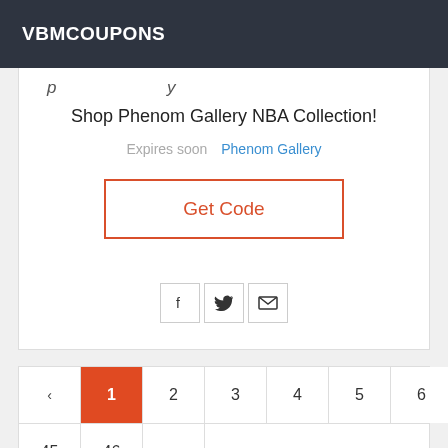VBMCOUPONS
Shop Phenom Gallery NBA Collection!
Expires soon  Phenom Gallery
Get Code
[Figure (other): Social share icons: Facebook (f), Twitter (bird), Email (envelope)]
‹ 1 2 3 4 5 6 7 8 9 10 ... 45 46 ›